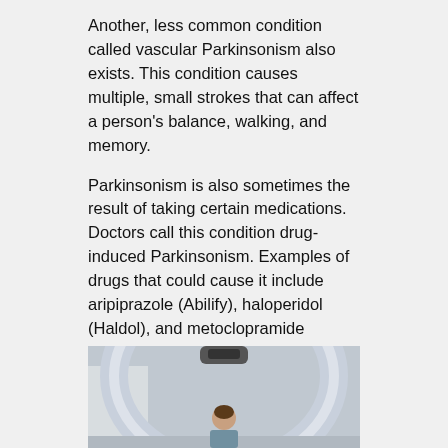Another, less common condition called vascular Parkinsonism also exists. This condition causes multiple, small strokes that can affect a person's balance, walking, and memory.
Parkinsonism is also sometimes the result of taking certain medications. Doctors call this condition drug-induced Parkinsonism. Examples of drugs that could cause it include aripiprazole (Abilify), haloperidol (Haldol), and metoclopramide (Reglan).
Ideally, if a person has drug-induced Parkinsonism, they can slowly reduce the dosages of these medicines. However, that may not always be possible, and a person should not stop taking a medication without their doctor's approval.
How do doctors diagnose Parkinsonism?
[Figure (photo): Photo of a person seated in front of a large MRI or CT scanner machine, viewed from the front showing the circular aperture of the scanner.]